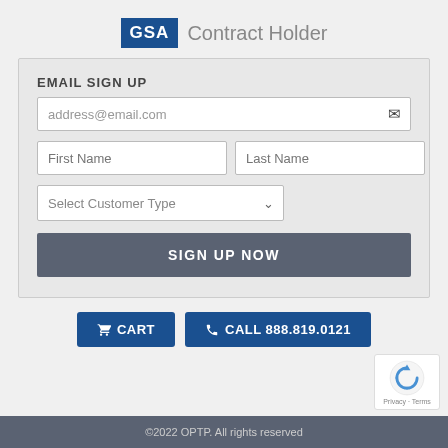[Figure (logo): GSA Contract Holder logo: dark blue square with 'GSA' text in white, followed by 'Contract Holder' in gray]
EMAIL SIGN UP
address@email.com
First Name
Last Name
Select Customer Type
SIGN UP NOW
🛒 CART
📞 CALL 888.819.0121
[Figure (logo): Google reCAPTCHA badge with logo and Privacy · Terms links]
©2022 OPTP. All rights reserved